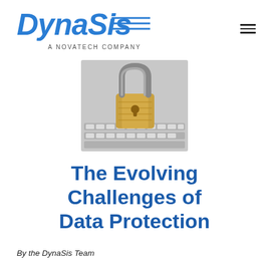DynaSis — A NOVATECH COMPANY
[Figure (photo): A gold padlock sitting on a laptop keyboard, suggesting data security]
The Evolving Challenges of Data Protection
By the DynaSis Team